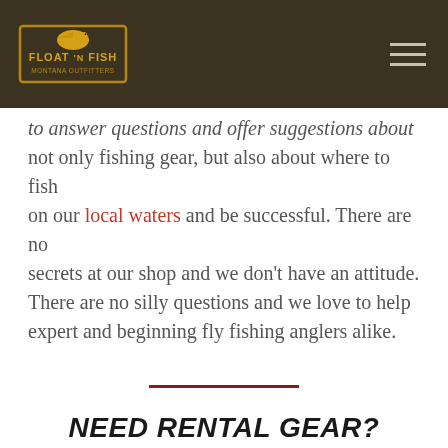Float 'N Fish
to answer questions and offer suggestions about not only fishing gear, but also about where to fish on our local waters and be successful. There are no secrets at our shop and we don't have an attitude. There are no silly questions and we love to help expert and beginning fly fishing anglers alike.
NEED RENTAL GEAR?
If you arrive without your rod or waders, or you want to introduce flyfishing to someone new, we also have the finest rental equipment available at low